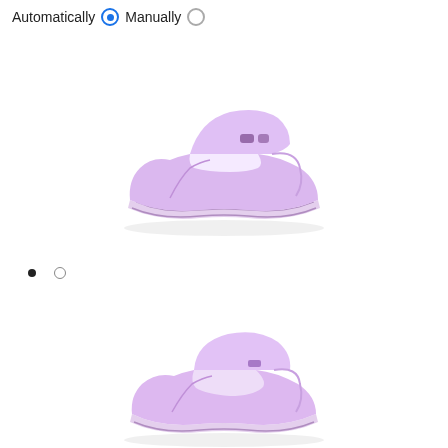Automatically  Manually
[Figure (photo): Light purple/lavender platform mule shoe (Crocs-style) with chunky curved sole, viewed from the side, first image]
[Figure (other): Two navigation dots: one filled black, one outlined circle]
[Figure (photo): Light purple/lavender platform clog shoe (Crocs-style) with chunky sole, viewed from the side, second image]